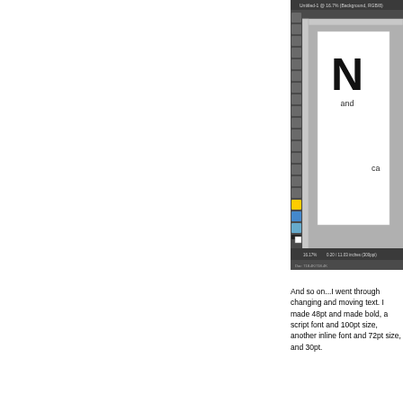[Figure (screenshot): Screenshot of Adobe Photoshop with a canvas showing large 'N' text and 'and' text on a white document, with the tools panel visible on the left side.]
And so on...I went through changing and moving text. I made 48pt and made bold, a script font and 100pt size, another inline font and 72pt size, and 30pt.